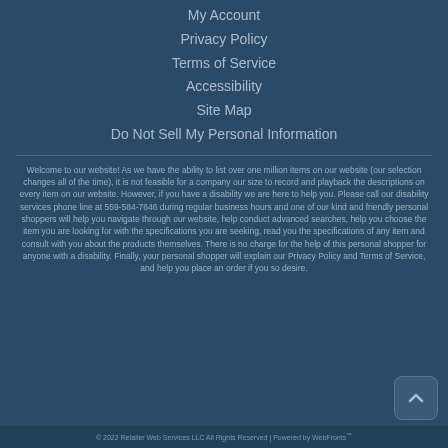My Account
Privacy Policy
Terms of Service
Accessibility
Site Map
Do Not Sell My Personal Information
Welcome to our website! As we have the ability to list over one million items on our website (our selection changes all of the time), it is not feasible for a company our size to record and playback the descriptions on every item on our website. However, if you have a disability we are here to help you. Please call our disability services phone line at 559-584-7646 during regular business hours and one of our kind and friendly personal shoppers will help you navigate through our website, help conduct advanced searches, help you choose the item you are looking for with the specifications you are seeking, read you the specifications of any item and consult with you about the products themselves. There is no charge for the help of this personal shopper for anyone with a disability. Finally, your personal shopper will explain our Privacy Policy and Terms of Service, and help you place an order if you so desire.
© 2022 Retailer Web Services LLC All Rights Reserved | Powered by WebFronts™